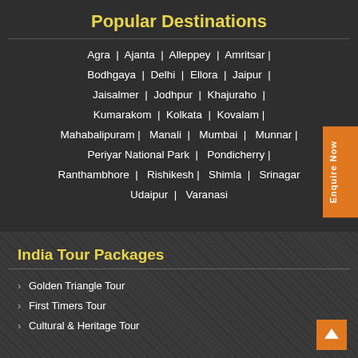Popular Destinations
Agra | Ajanta | Alleppey | Amritsar | Bodhgaya | Delhi | Ellora | Jaipur | Jaisalmer | Jodhpur | Khajuraho | Kumarakom | Kolkata | Kovalam | Mahabalipuram | Manali | Mumbai | Munnar | Periyar National Park | Pondicherry | Ranthambhore | Rishikesh | Shimla | Srinagar | Udaipur | Varanasi
India Tour Packages
Golden Triangle Tour
First Timers Tour
Cultural & Heritage Tour